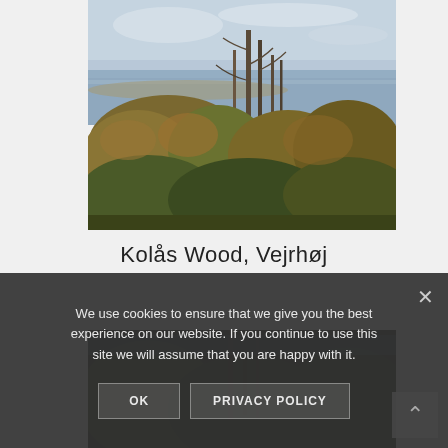[Figure (illustration): Oil painting of a woodland scene with tall slender trees, dense foliage in autumnal colors, and a calm body of water visible in the background under a light sky. Kolås Wood, Vejrhøj.]
Kolås Wood, Vejrhøj
[Figure (illustration): Lower portion of the same or similar painting showing dark forest undergrowth.]
We use cookies to ensure that we give you the best experience on our website. If you continue to use this site we will assume that you are happy with it.
OK
PRIVACY POLICY